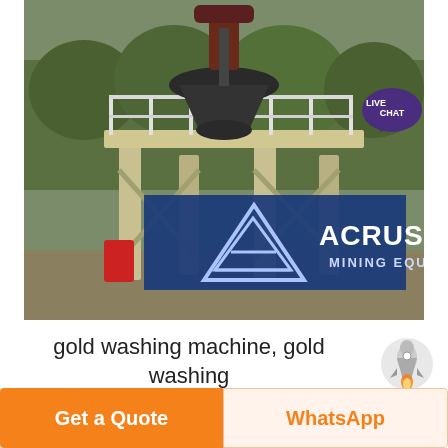[Figure (photo): Industrial mining equipment / cone crusher on elevated steel platform structure, with ACRUSHER MINING EQUIPMENT logo overlay in the lower portion of the image. Green trees visible in background.]
gold washing machine, gold washing machine Suppliers and ...
A wide variety of gold washing machine options are available to you, There are 21,766 suppliers who sells gold washing machine on Alibaba, mainly located in Asia. The top countries of suppliers...